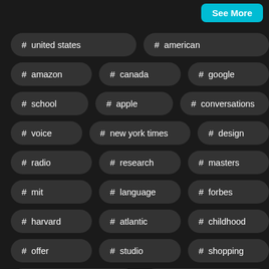See More
# united states
# american
# amazon
# canada
# google
# school
# apple
# conversations
# voice
# new york times
# design
# radio
# research
# masters
# mit
# language
# forbes
# harvard
# atlantic
# childhood
# offer
# studio
# shopping
# designers
# columbia